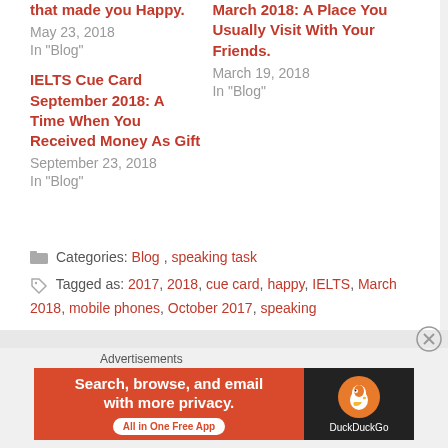that made you Happy.
May 23, 2018
In "Blog"
March 2018: A Place You Usually Visit With Your Friends.
March 19, 2018
In "Blog"
IELTS Cue Card September 2018: A Time When You Received Money As Gift
September 23, 2018
In "Blog"
Categories: Blog, speaking task
Tagged as: 2017, 2018, cue card, happy, IELTS, March 2018, mobile phones, October 2017, speaking
Advertisements
[Figure (infographic): DuckDuckGo advertisement banner: Search, browse, and email with more privacy. All in One Free App. Shows DuckDuckGo duck logo on dark background.]